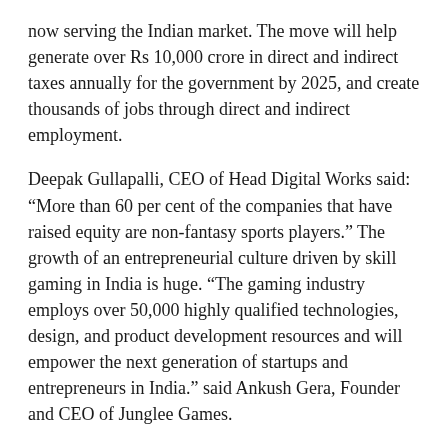now serving the Indian market. The move will help generate over Rs 10,000 crore in direct and indirect taxes annually for the government by 2025, and create thousands of jobs through direct and indirect employment.
Deepak Gullapalli, CEO of Head Digital Works said: “More than 60 per cent of the companies that have raised equity are non-fantasy sports players.” The growth of an entrepreneurial culture driven by skill gaming in India is huge. “The gaming industry employs over 50,000 highly qualified technologies, design, and product development resources and will empower the next generation of startups and entrepreneurs in India.” said Ankush Gera, Founder and CEO of Junglee Games.
Commenting on the recent development of Esports inclusion in the upcoming Asian Games, Sai Srinivas, CEO, Mobile Premier League said, “it makes sense to regulate all games of skill together and democratize the wider ambit of Esports, especially given its inclusion in the upcoming Asian Games”.